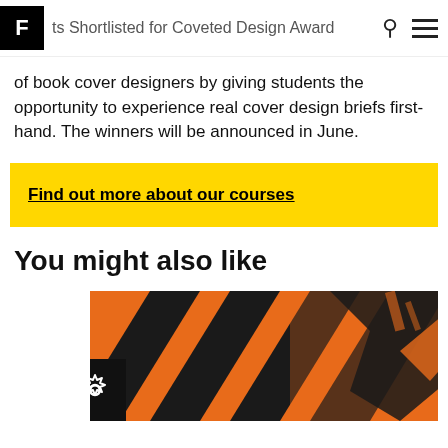F | ts Shortlisted for Coveted Design Award
of book cover designers by giving students the opportunity to experience real cover design briefs first-hand. The winners will be announced in June.
Find out more about our courses
You might also like
[Figure (illustration): Orange and black diagonal stripe graphic artwork with bold angular shapes. Two accessibility toolbar icons visible at bottom left: a person-in-circle icon and a gear/settings icon, both on black backgrounds.]